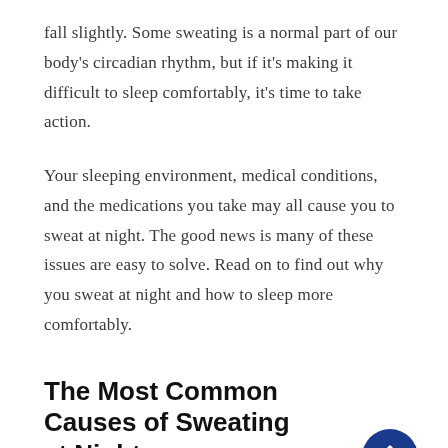fall slightly. Some sweating is a normal part of our body's circadian rhythm, but if it's making it difficult to sleep comfortably, it's time to take action.
Your sleeping environment, medical conditions, and the medications you take may all cause you to sweat at night. The good news is many of these issues are easy to solve. Read on to find out why you sweat at night and how to sleep more comfortably.
The Most Common Causes of Sweating at Night
Everyone feels hot at night once in a while. It's typical